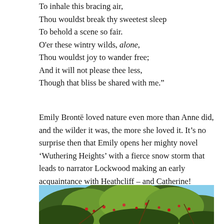To inhale this bracing air,
Thou wouldst break thy sweetest sleep
To behold a scene so fair.
O'er these wintry wilds, alone,
Thou wouldst joy to wander free;
And it will not please thee less,
Though that bliss be shared with me."
Emily Brontë loved nature even more than Anne did, and the wilder it was, the more she loved it. It's no surprise then that Emily opens her mighty novel 'Wuthering Heights' with a fierce snow storm that leads to narrator Lockwood making an early acquaintance with Heathcliff – and Catherine!
[Figure (photo): Photograph of a tree with dense green foliage and red berries against a blue sky, partially cropped at the bottom of the page.]